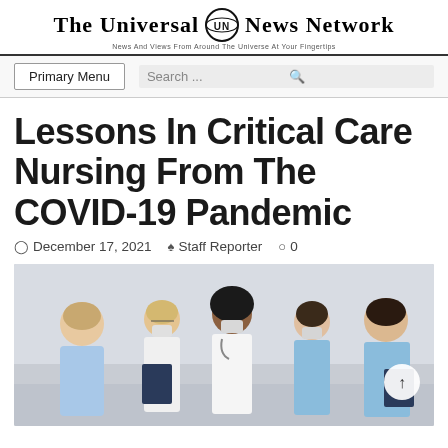The Universal News Network
News And Views From Around The Universe At Your Fingertips
Primary Menu  Search ...
Lessons In Critical Care Nursing From The COVID-19 Pandemic
December 17, 2021  Staff Reporter  0
[Figure (photo): Group of medical professionals wearing face masks in a clinical setting, discussing over documents/clipboards. They are wearing scrubs and white coats.]